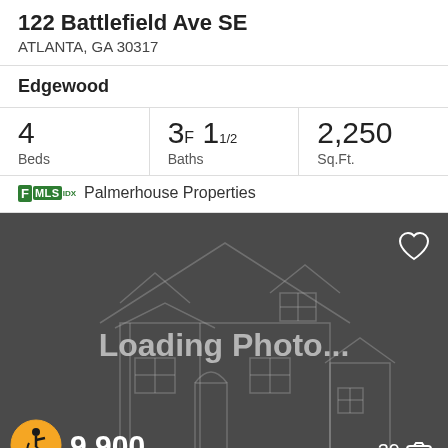122 Battlefield Ave SE
ATLANTA, GA 30317
Edgewood
| Beds | Baths | Sq.Ft. |
| --- | --- | --- |
| 4 | 3F 11/2 | 2,250 |
FMLS  Palmerhouse Properties
[Figure (photo): Loading Photo placeholder with house outline silhouette on dark gray background, heart icon top right, price badge bottom left showing 9,900, photo count badge showing 39 bottom right, accessibility icon bottom left]
9,900
39